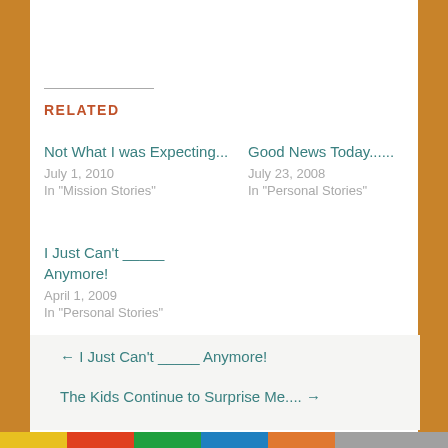RELATED
Not What I was Expecting...
July 1, 2010
In "Mission Stories"
Good News Today......
July 23, 2008
In "Personal Stories"
I Just Can't _____ Anymore!
April 1, 2009
In "Personal Stories"
← I Just Can't _____ Anymore!
The Kids Continue to Surprise Me.... →